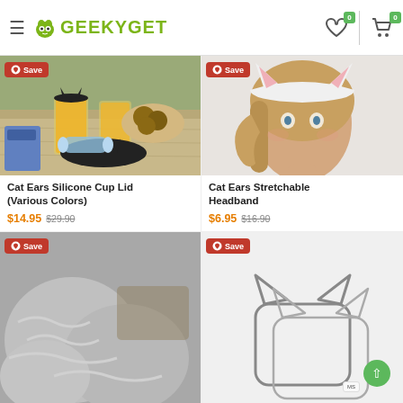GeekyGet navigation header with hamburger menu, logo, wishlist (0), and cart (0) icons
[Figure (photo): Cat Ears Silicone Cup Lid product photo showing black silicone cup lids with cat ears on glasses of orange juice with muffins on a wooden table]
Cat Ears Silicone Cup Lid (Various Colors)
$14.95  $29.90
[Figure (photo): Cat Ears Stretchable Headband product photo showing young woman wearing white headband with pink cat ears]
Cat Ears Stretchable Headband
$6.95  $16.90
[Figure (photo): Partial product photo showing gray fluffy item at bottom of page]
[Figure (photo): Partial product photo showing cat-shaped cookie cutter outline at bottom of page]